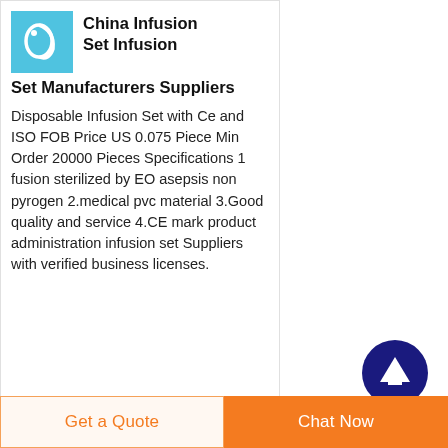[Figure (logo): Company logo: light blue square with abstract swirl/medical symbol in white]
China Infusion Set Infusion Set Manufacturers Suppliers
Disposable Infusion Set with Ce and ISO FOB Price US 0.075 Piece Min Order 20000 Pieces Specifications 1 fusion sterilized by EO asepsis non pyrogen 2.medical pvc material 3.Good quality and service 4.CE mark product administration infusion set Suppliers with verified business licenses.
[Figure (illustration): Dark blue circular scroll-to-top button with upward arrow icon]
Get a Quote
Chat Now